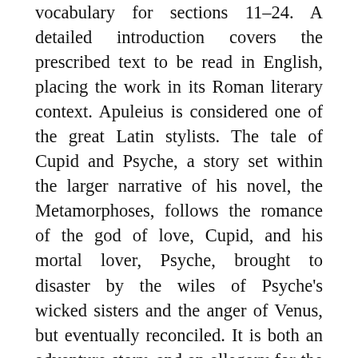vocabulary for sections 11–24. A detailed introduction covers the prescribed text to be read in English, placing the work in its Roman literary context. Apuleius is considered one of the great Latin stylists. The tale of Cupid and Psyche, a story set within the larger narrative of his novel, the Metamorphoses, follows the romance of the god of love, Cupid, and his mortal lover, Psyche, brought to disaster by the wiles of Psyche's wicked sisters and the anger of Venus, but eventually reconciled. It is both an adventure story, and an allegory for the relationship between the soul and desire. The OCR selection contains some of the most hauntingly beautiful Latin prose which has come down to us and gives an unparallelled insight into the relationship between philosophy, religion, and art under the high empire. Resources are available on the